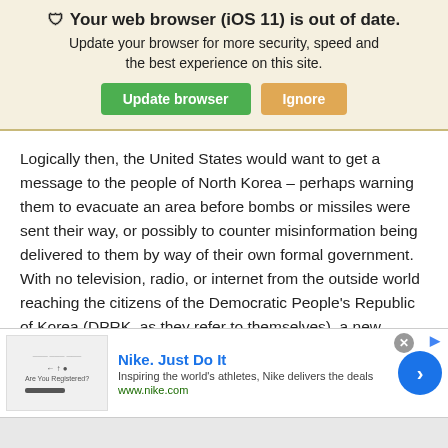🛡 Your web browser (iOS 11) is out of date. Update your browser for more security, speed and the best experience on this site.
Logically then, the United States would want to get a message to the people of North Korea – perhaps warning them to evacuate an area before bombs or missiles were sent their way, or possibly to counter misinformation being delivered to them by way of their own formal government. With no television, radio, or internet from the outside world reaching the citizens of the Democratic People's Republic of Korea (DPRK, as they refer to themselves), a new method of delivery would have to be employed.
[Figure (screenshot): Nike advertisement banner with logo, tagline 'Nike. Just Do It', description 'Inspiring the world's athletes, Nike delivers the deals', URL 'www.nike.com', and a blue circular arrow button.]